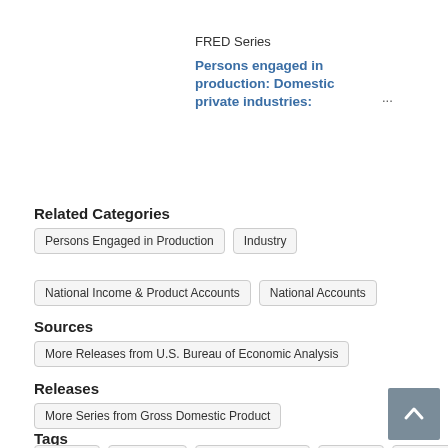FRED Series
Persons engaged in production: Domestic private industries: ...
Related Categories
Persons Engaged in Production
Industry
National Income & Product Accounts
National Accounts
Sources
More Releases from U.S. Bureau of Economic Analysis
Releases
More Series from Gross Domestic Product
Tags
Forestry
Agriculture
Private Industries
Persons
Domestic